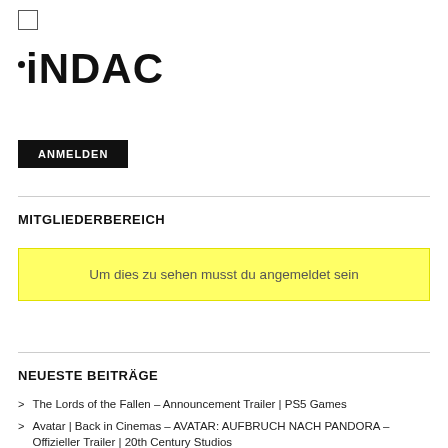[Figure (logo): iNDAC logo with dot above the i]
ANMELDEN
MITGLIEDERBEREICH
Um dies zu sehen musst du angemeldet sein
NEUESTE BEITRÄGE
The Lords of the Fallen – Announcement Trailer | PS5 Games
Avatar | Back in Cinemas – AVATAR: AUFBRUCH NACH PANDORA – Offizieller Trailer | 20th Century Studios
The SPA Studios (Sergio Pablos Animation)